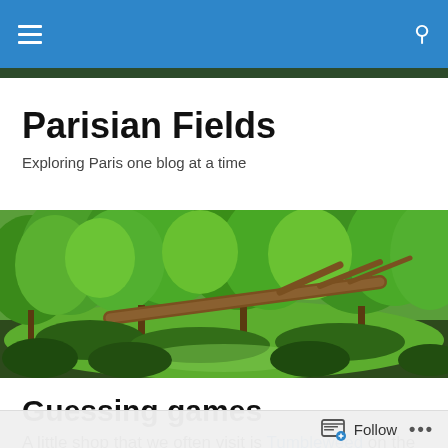Parisian Fields — navigation bar
Parisian Fields
Exploring Paris one blog at a time
[Figure (photo): Wide panoramic photograph of a lush green park in Paris, showing dense green trees, grass, and a fallen or leaning large tree trunk across the landscape.]
Guessing games
A little shop that we often visit is Tumbleweed on the rue de Turenne. As its name suggests, the owner is American,
Follow  •••